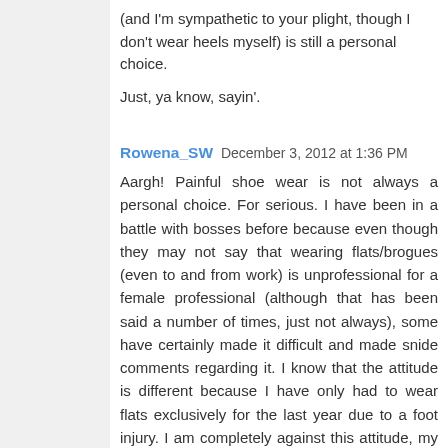(and I'm sympathetic to your plight, though I don't wear heels myself) is still a personal choice.
Just, ya know, sayin'.
Rowena_SW December 3, 2012 at 1:36 PM
Aargh! Painful shoe wear is not always a personal choice. For serious. I have been in a battle with bosses before because even though they may not say that wearing flats/brogues (even to and from work) is unprofessional for a female professional (although that has been said a number of times, just not always), some have certainly made it difficult and made snide comments regarding it. I know that the attitude is different because I have only had to wear flats exclusively for the last year due to a foot injury. I am completely against this attitude, my view being that women should be able to wear flats with suits so long as they are smart, but it is prevalent in old school professions, and can